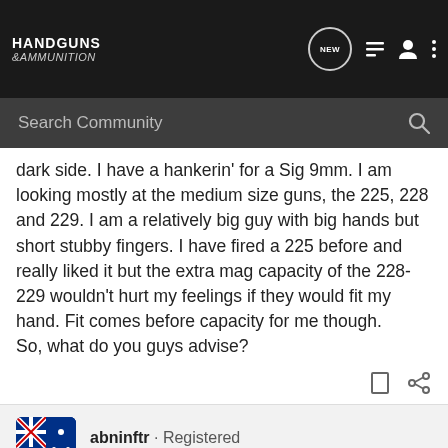HANDGUNS & ammunition
Search Community
dark side. I have a hankerin' for a Sig 9mm. I am looking mostly at the medium size guns, the 225, 228 and 229. I am a relatively big guy with big hands but short stubby fingers. I have fired a 225 before and really liked it but the extra mag capacity of the 228-229 wouldn't hurt my feelings if they would fit my hand. Fit comes before capacity for me though.
So, what do you guys advise?
abninftr · Registered
Joined Jun 9, 2005 · 3,359 Posts
#2 · Jan 13, 2005